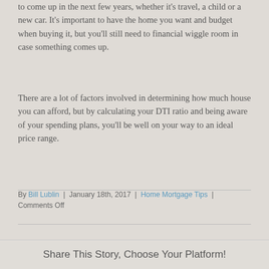to come up in the next few years, whether it's travel, a child or a new car. It's important to have the home you want and budget when buying it, but you'll still need to financial wiggle room in case something comes up.
There are a lot of factors involved in determining how much house you can afford, but by calculating your DTI ratio and being aware of your spending plans, you'll be well on your way to an ideal price range.
By Bill Lublin | January 18th, 2017 | Home Mortgage Tips | Comments Off
Share This Story, Choose Your Platform!